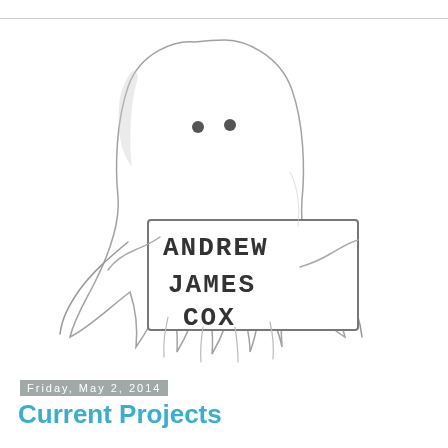[Figure (illustration): Hand-drawn pencil sketch of a ghost figure holding a sign that reads 'ANDREW JAMES COX'. The ghost has a rounded top with two small dot eyes, a flowing body, and outstretched arms holding a rectangular name tag banner.]
Friday, May 2, 2014
Current Projects